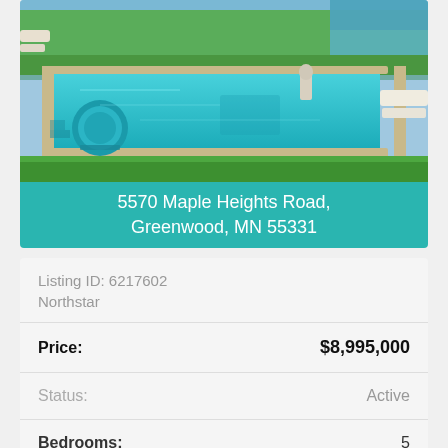[Figure (photo): Aerial/ground-level photo of a luxury home backyard with a large rectangular swimming pool, circular hot tub, green lawn, lounge chairs, and a body of water in the background.]
5570 Maple Heights Road, Greenwood, MN 55331
| Field | Value |
| --- | --- |
| Listing ID: 6217602 |  |
| Northstar |  |
| Price: | $8,995,000 |
| Status: | Active |
| Bedrooms: | 5 |